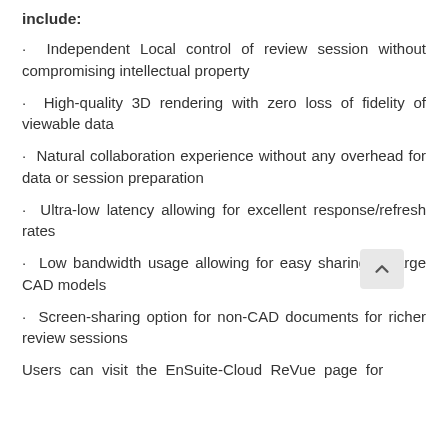include:
· Independent Local control of review session without compromising intellectual property
· High-quality 3D rendering with zero loss of fidelity of viewable data
· Natural collaboration experience without any overhead for data or session preparation
· Ultra-low latency allowing for excellent response/refresh rates
· Low bandwidth usage allowing for easy sharing of large CAD models
· Screen-sharing option for non-CAD documents for richer review sessions
Users can visit the EnSuite-Cloud ReVue page for